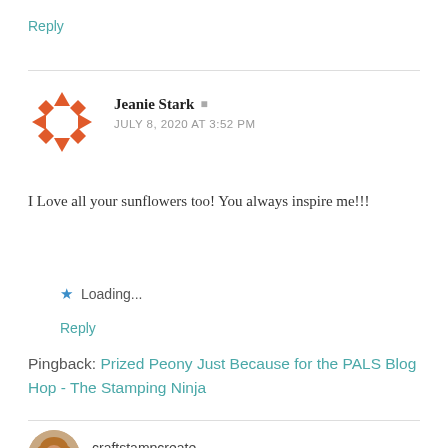Reply
[Figure (logo): Orange geometric star/wreath avatar icon for Jeanie Stark]
Jeanie Stark
JULY 8, 2020 AT 3:52 PM
I Love all your sunflowers too! You always inspire me!!!
Loading...
Reply
Pingback: Prized Peony Just Because for the PALS Blog Hop - The Stamping Ninja
[Figure (photo): Round avatar photo of craftstampcreate user showing a woman with curly hair]
craftstampcreate